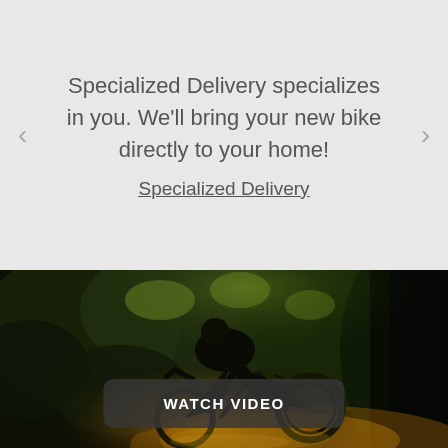Specialized Delivery specializes in you. We'll bring your new bike directly to your home!
Specialized Delivery
[Figure (photo): Mountain biker performing a jump or trick on a forest trail, silhouetted against warm golden sunlight filtering through dense green forest vegetation. Dark moody atmosphere with earthy tones.]
WATCH VIDEO